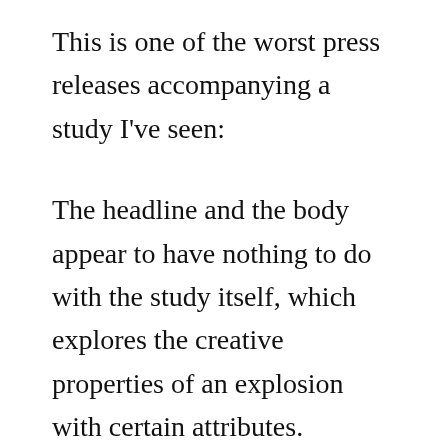This is one of the worst press releases accompanying a study I've seen:
The headline and the body appear to have nothing to do with the study itself, which explores the creative properties of an explosion with certain attributes. However, the press office of the University of Central Florida has drafted a popular version that claims researchers – who are engineers more than physicists – have "detailed the